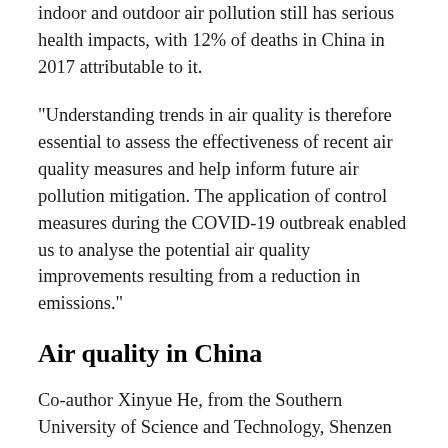indoor and outdoor air pollution still has serious health impacts, with 12% of deaths in China in 2017 attributable to it.
“Understanding trends in air quality is therefore essential to assess the effectiveness of recent air quality measures and help inform future air pollution mitigation. The application of control measures during the COVID-19 outbreak enabled us to analyse the potential air quality improvements resulting from a reduction in emissions.”
Air quality in China
Co-author Xinyue He, from the Southern University of Science and Technology, Shenzen